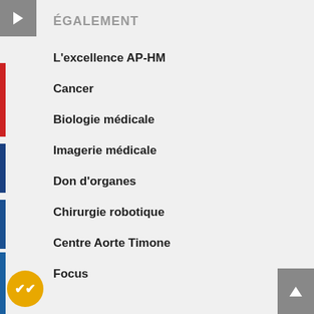ÉGALEMENT
L'excellence AP-HM
Cancer
Biologie médicale
Imagerie médicale
Don d'organes
Chirurgie robotique
Centre Aorte Timone
Focus